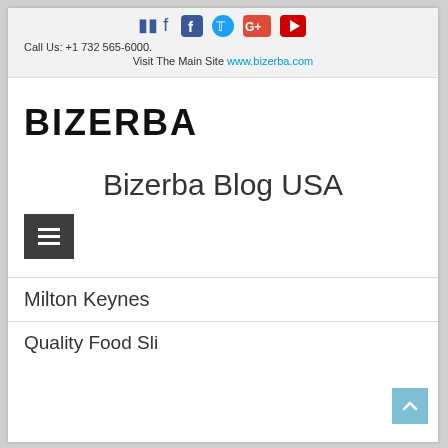Social icons: Facebook, Twitter, Google+, YouTube | Call Us: +1 732 565-6000. | Visit The Main Site www.bizerba.com
[Figure (logo): BIZERBA company logo in bold black text]
Bizerba Blog USA
[Figure (other): Hamburger menu button (three horizontal lines on dark background)]
Milton Keynes
Quality Food Sli...